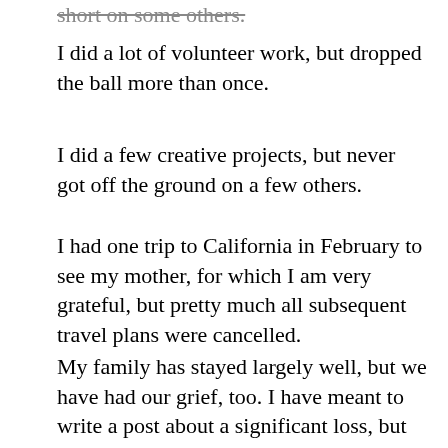short on some others.
I did a lot of volunteer work, but dropped the ball more than once.
I did a few creative projects, but never got off the ground on a few others.
I had one trip to California in February to see my mother, for which I am very grateful, but pretty much all subsequent travel plans were cancelled.
My family has stayed largely well, but we have had our grief, too. I have meant to write a post about a significant loss, but haven't found the time or energy to do my feelings or the person justice.
I put a lot of time and energy into the US elections, and the results were mostly good, but we are still disappointed in certain directions, but it isn't done.